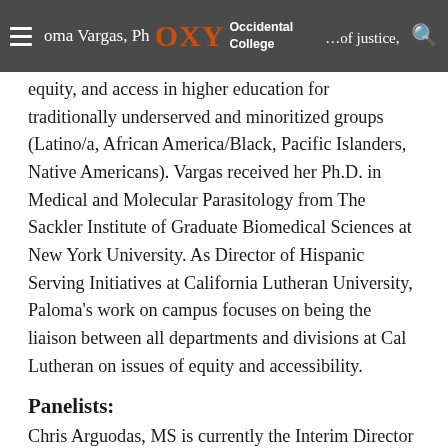Paloma Vargas, Ph.D., advocate of justice, equity, and access in higher education for traditionally underserved and minoritized groups (Latino/a, African America/Black, Pacific Islanders, Native Americans). Vargas received her Ph.D. in Medical and Molecular Parasitology from The Sackler Institute of Graduate Biomedical Sciences at New York University. As Director of Hispanic Serving Initiatives at California Lutheran University, Paloma's work on campus focuses on being the liaison between all departments and divisions at Cal Lutheran on issues of equity and accessibility.
Panelists:
Chris Arguodas, MS is currently the Interim Director